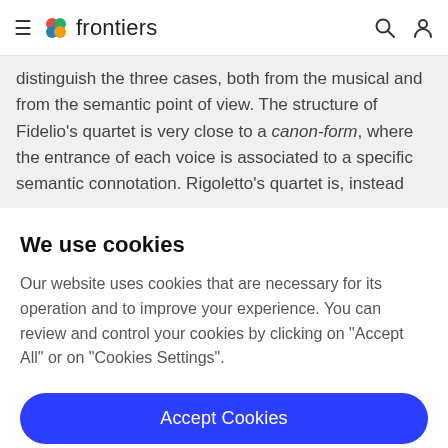frontiers
distinguish the three cases, both from the musical and from the semantic point of view. The structure of Fidelio's quartet is very close to a canon-form, where the entrance of each voice is associated to a specific semantic connotation. Rigoletto's quartet is, instead
We use cookies
Our website uses cookies that are necessary for its operation and to improve your experience. You can review and control your cookies by clicking on "Accept All" or on "Cookies Settings".
Accept Cookies
Cookies Settings